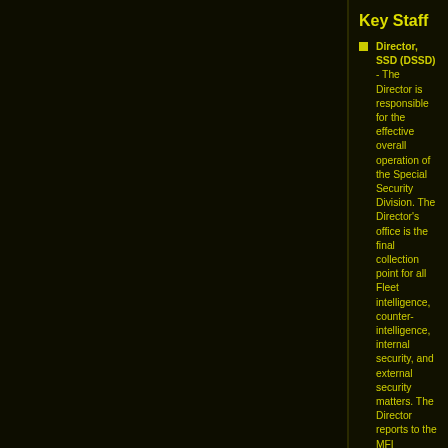Key Staff
Director, SSD (DSSD) - The Director is responsible for the effective overall operation of the Special Security Division. The Director's office is the final collection point for all Fleet intelligence, counter-intelligence, internal security, and external security matters. The Director reports to the MFI Coordinator Council via the MFI Chief of Operations.
Deputy Director, SSD (DDSSD) - The Deputy Director is the assistant to the Director. This officer would assume command of the SSD in the absence of the Director. The DDSSD is privy to all the same information in which the Director sees in the event he/she must assume command. The Deputy Director reports to the Director.
Operations Chief, SSD (OC SSD) - The Operations Chief is responsible for the organization, coordination, and execution of all SSD missions. The Operations Chief